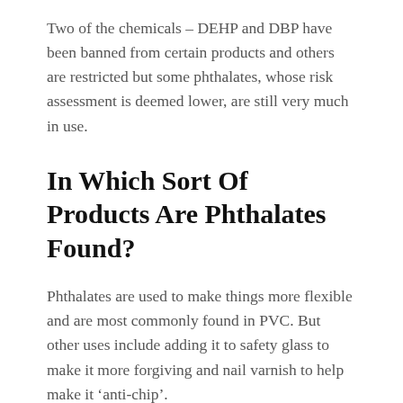Two of the chemicals – DEHP and DBP have been banned from certain products and others are restricted but some phthalates, whose risk assessment is deemed lower, are still very much in use.
In Which Sort Of Products Are Phthalates Found?
Phthalates are used to make things more flexible and are most commonly found in PVC. But other uses include adding it to safety glass to make it more forgiving and nail varnish to help make it ‘anti-chip’.